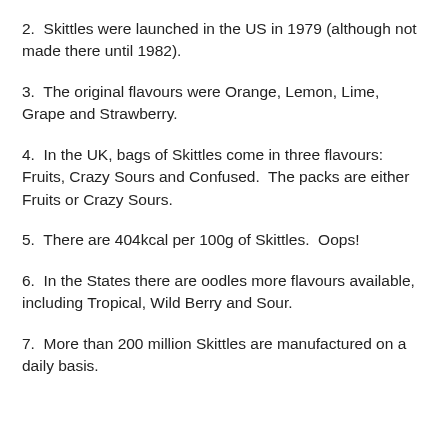2.  Skittles were launched in the US in 1979 (although not made there until 1982).
3.  The original flavours were Orange, Lemon, Lime, Grape and Strawberry.
4.  In the UK, bags of Skittles come in three flavours: Fruits, Crazy Sours and Confused.  The packs are either Fruits or Crazy Sours.
5.  There are 404kcal per 100g of Skittles.  Oops!
6.  In the States there are oodles more flavours available, including Tropical, Wild Berry and Sour.
7.  More than 200 million Skittles are manufactured on a daily basis.